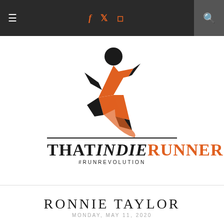≡  f  t  (instagram)  🔍
[Figure (logo): That Indie Runner logo — stylized orange and black running figure above the wordmark THATINDIERUNNER with tagline #RUNREVOLUTION]
RONNIE TAYLOR
MONDAY, MAY 11, 2020